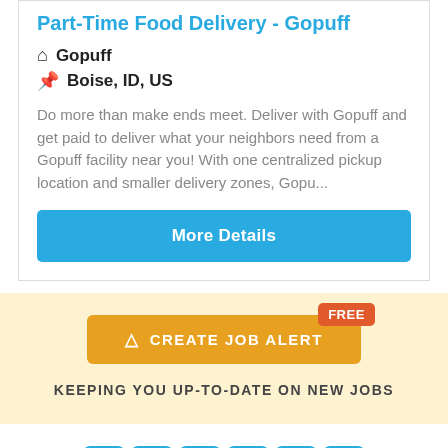Part-Time Food Delivery - Gopuff
Gopuff
Boise, ID, US
Do more than make ends meet. Deliver with Gopuff and get paid to deliver what your neighbors need from a Gopuff facility near you! With one centralized pickup location and smaller delivery zones, Gopu...
More Details
FREE
CREATE JOB ALERT
KEEPING YOU UP-TO-DATE ON NEW JOBS
1 2 3 4 5 >